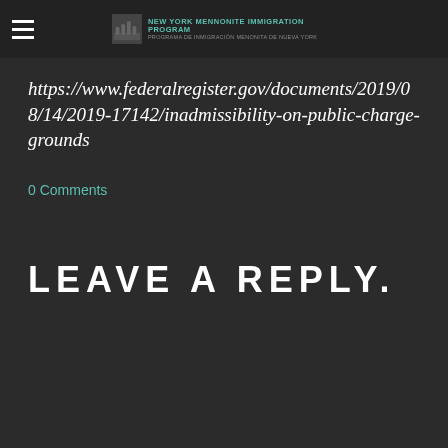NEW YORK MENNONITE IMMIGRATION PROGRAM / PROGRAMA DE INMIGRACIÓN MENONITA DE NUEVA YORK
https://www.federalregister.gov/documents/2019/08/14/2019-17142/inadmissibility-on-public-charge-grounds
0 Comments
LEAVE A REPLY.